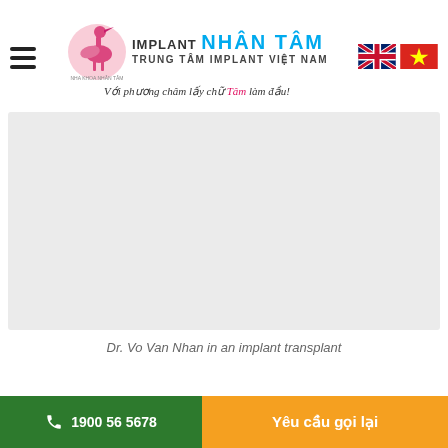IMPLANT NHÂN TÂM - TRUNG TÂM IMPLANT VIỆT NAM - Với phương châm lấy chữ Tâm làm đầu!
[Figure (photo): Large light grey placeholder image area representing a photo of Dr. Vo Van Nhan performing an implant transplant procedure]
Dr. Vo Van Nhan in an implant transplant
1900 56 5678 | Yêu cầu gọi lại